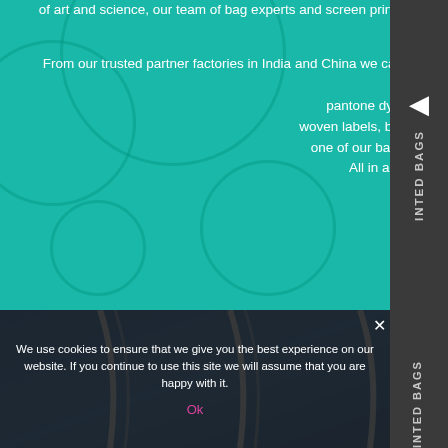of art and science, our team of bag experts and screen printers use state-of-the-art equipment to perfectly place your design on the bag of your choice.
From our trusted partner factories in India and China we can supply high quality, ethically sourced bespoke made bags. The possssbilities are endles including pantone dyed fabric, edge to edge printing, zip woven labels, bespoke styles and sizes. Please contact one of our bags experts for any advice or quotation. All in all, we've got the bag to suit you .
[Figure (photo): Close-up photo of blue fabric bags with white/silver rope handles]
We use cookies to ensure that we give you the best experience on our website. If you continue to use this site we will assume that you are happy with it.
Ok